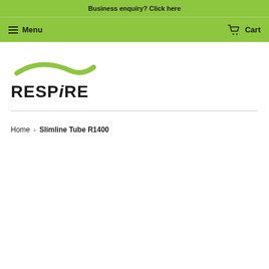Business enquiry? Click here
Menu   Cart
[Figure (logo): RESPiRE logo with green swoosh above text]
Home › Slimline Tube R1400